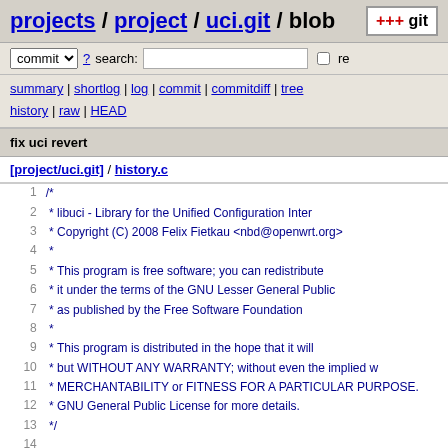projects / project / uci.git / blob
commit ? search: re
summary | shortlog | log | commit | commitdiff | tree history | raw | HEAD
fix uci revert
[project/uci.git] / history.c
1 /*
2  * libuci - Library for the Unified Configuration Inter...
3  * Copyright (C) 2008 Felix Fietkau <nbd@openwrt.org>
4  *
5  * This program is free software; you can redistribute...
6  * it under the terms of the GNU Lesser General Public...
7  * as published by the Free Software Foundation
8  *
9  * This program is distributed in the hope that it will...
10  * but WITHOUT ANY WARRANTY; without even the implied w...
11  * MERCHANTABILITY or FITNESS FOR A PARTICULAR PURPOSE....
12  * GNU General Public License for more details.
13  */
14 
15 /*
16  * This file contains the code for handling uci config...
17  */
18 
19 #define  GNU_SOURCE